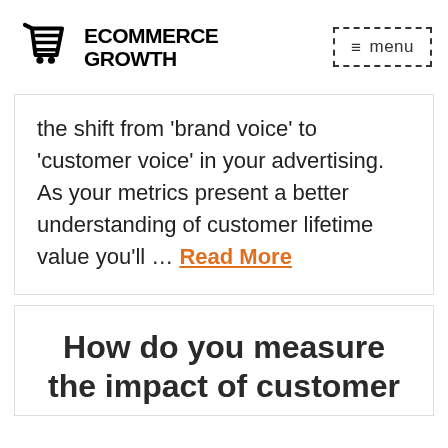ECOMMERCE GROWTH
the shift from ‘brand voice’ to ‘customer voice’ in your advertising. As your metrics present a better understanding of customer lifetime value you’ll … Read More
How do you measure the impact of customer